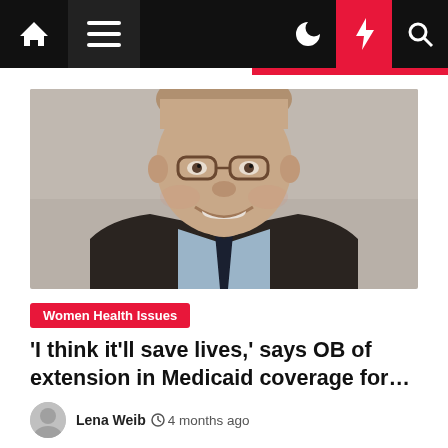Navigation bar with home, menu, moon, bolt, and search icons
[Figure (photo): Headshot of a middle-aged man wearing glasses and a dark suit with a light blue shirt and dark tie, smiling, on a grey background.]
Women Health Issues
'I think it'll save lives,' says OB of extension in Medicaid coverage for…
Lena Weib  4 months ago